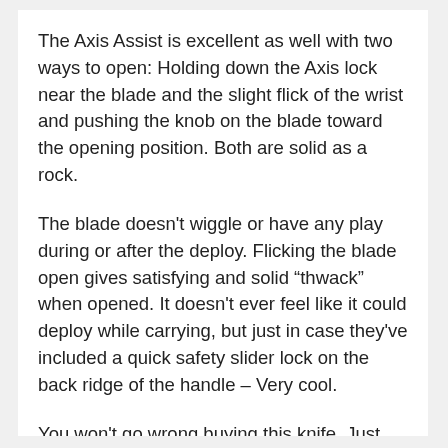The Axis Assist is excellent as well with two ways to open: Holding down the Axis lock near the blade and the slight flick of the wrist and pushing the knob on the blade toward the opening position. Both are solid as a rock.
The blade doesn’t wiggle or have any play during or after the deploy. Flicking the blade open gives satisfying and solid “thwack” when opened. It doesn’t ever feel like it could deploy while carrying, but just in case they’ve included a quick safety slider lock on the back ridge of the handle – Very cool.
You won’t go wrong buying this knife. Just